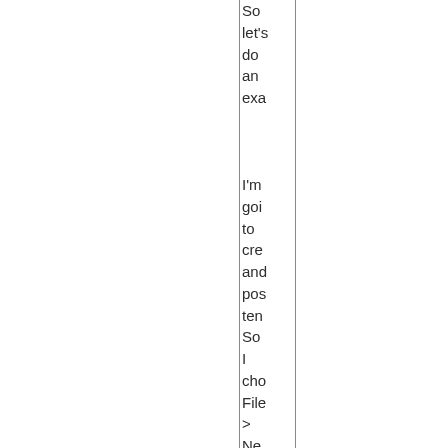So let's do an example I'm going to create and post ten. So I chose File > New > Drawing to